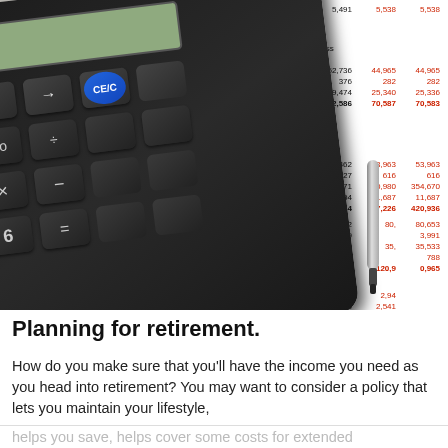[Figure (photo): A black calculator with CE/C blue button and various operation keys, overlaid on a financial document showing rows of numbers in black and red, with a silver pen resting on the document. The scene evokes financial planning.]
Planning for retirement.
How do you make sure that you'll have the income you need as you head into retirement? You may want to consider a policy that lets you maintain your lifestyle,
helps you save, helps cover some costs for extended